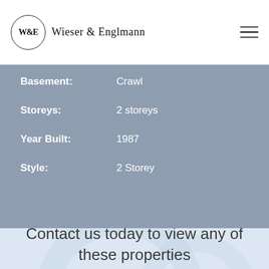Wieser & Englmann
Basement: Crawl
Storeys: 2 storeys
Year Built: 1987
Style: 2 Storey
Contact us today to view any of these properties